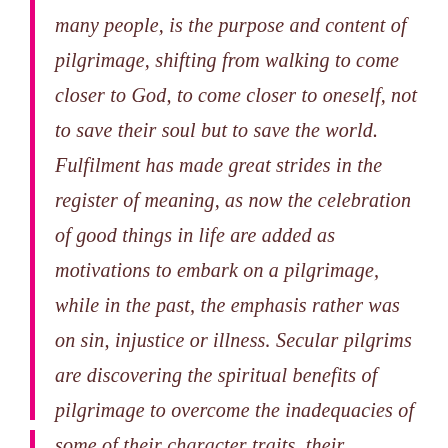many people, is the purpose and content of pilgrimage, shifting from walking to come closer to God, to come closer to oneself, not to save their soul but to save the world. Fulfilment has made great strides in the register of meaning, as now the celebration of good things in life are added as motivations to embark on a pilgrimage, while in the past, the emphasis rather was on sin, injustice or illness. Secular pilgrims are discovering the spiritual benefits of pilgrimage to overcome the inadequacies of some of their character traits, their insecurities or fears.